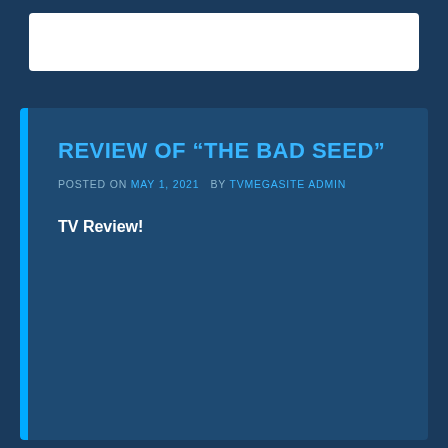REVIEW OF “THE BAD SEED”
POSTED ON MAY 1, 2021  BY TVMEGASITE ADMIN
TV Review!